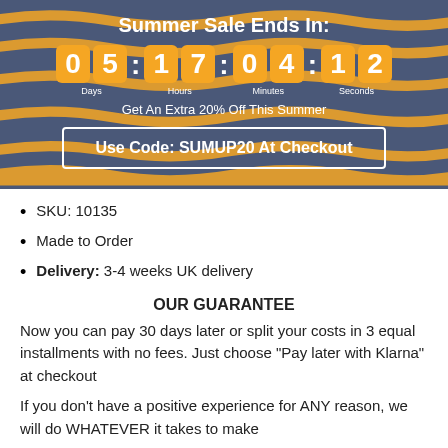Summer Sale Ends In:
[Figure (infographic): Countdown timer showing 05 Days, 17 Hours, 04 Minutes, 12 Seconds on orange digit boxes against a dark blue background with orange wavy stripes]
Get An Extra 20% Off This Summer
Use Code: SUMUP20 At Checkout
SKU: 10135
Made to Order
Delivery: 3-4 weeks UK delivery
OUR GUARANTEE
Now you can pay 30 days later or split your costs in 3 equal installments with no fees. Just choose "Pay later with Klarna" at checkout
If you don't have a positive experience for ANY reason, we will do WHATEVER it takes to make